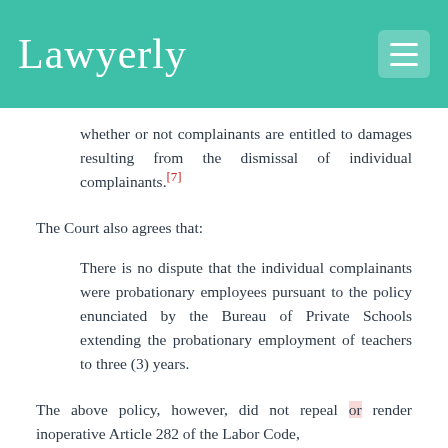Lawyerly
whether or not complainants are entitled to damages resulting from the dismissal of individual complainants.[7]
The Court also agrees that:
There is no dispute that the individual complainants were probationary employees pursuant to the policy enunciated by the Bureau of Private Schools extending the probationary employment of teachers to three (3) years.
The above policy, however, did not repeal or render inoperative Article 282 of the Labor Code,